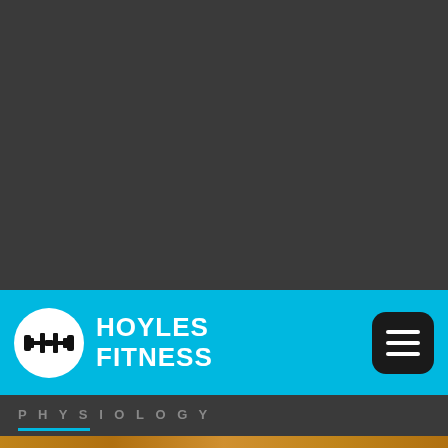[Figure (other): Dark gray background area filling the top portion of the page]
[Figure (logo): Hoyles Fitness logo: white circle with black dumbbell H icon, white text HOYLES FITNESS on cyan banner, with dark hamburger menu button on the right]
PHYSIOLOGY
[Figure (photo): Bottom strip showing a gym/fitness photo with warm brown/orange tones, partially visible]